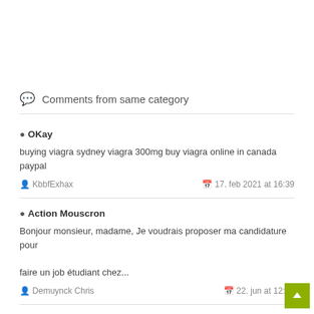Comments from same category
OKay
buying viagra sydney viagra 300mg buy viagra online in canada paypal
KbbfExhax  17. feb 2021 at 16:39
Action Mouscron
Bonjour monsieur, madame, Je voudrais proposer ma candidature pour faire un job étudiant chez...
Demuynck Chris  22. jun at 12:17
Lidl Mouscron